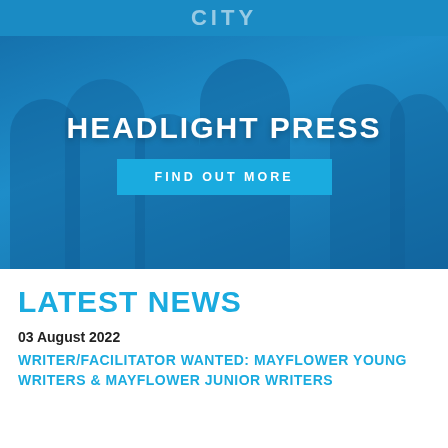[Figure (photo): Top banner with partial text showing 'CITY' in white letters on blue background]
[Figure (photo): Blue-tinted group photo of several people standing and talking, overlaid with 'HEADLIGHT PRESS' heading and 'FIND OUT MORE' button]
HEADLIGHT PRESS
FIND OUT MORE
LATEST NEWS
03 August 2022
WRITER/FACILITATOR WANTED: MAYFLOWER YOUNG WRITERS & MAYFLOWER JUNIOR WRITERS